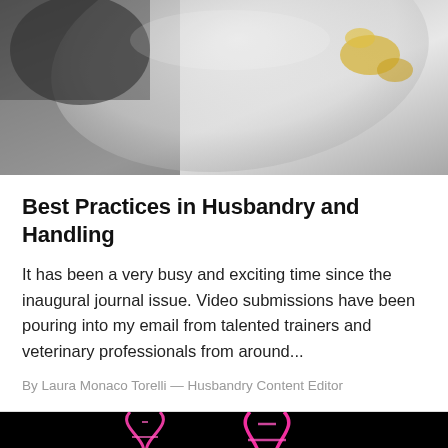[Figure (photo): Close-up photo of a dog wearing a plastic cone (Elizabethan collar) with yellow spots visible]
Best Practices in Husbandry and Handling
It has been a very busy and exciting time since the inaugural journal issue. Video submissions have been pouring into my email from talented trainers and veterinary professionals from around...
By Laura Monaco Torelli — Husbandry Content Editor
[Figure (photo): DNA double helix strands glowing pink/magenta on a black background]